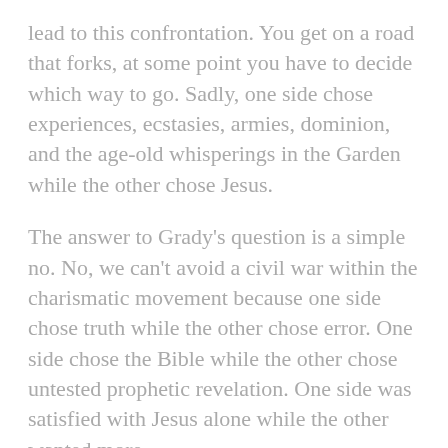lead to this confrontation. You get on a road that forks, at some point you have to decide which way to go. Sadly, one side chose experiences, ecstasies, armies, dominion, and the age-old whisperings in the Garden while the other chose Jesus.
The answer to Grady's question is a simple no. No, we can't avoid a civil war within the charismatic movement because one side chose truth while the other chose error. One side chose the Bible while the other chose untested prophetic revelation. One side was satisfied with Jesus alone while the other wanted more.
You can't make those two sides fit together. They practically define mutual exclusivity.